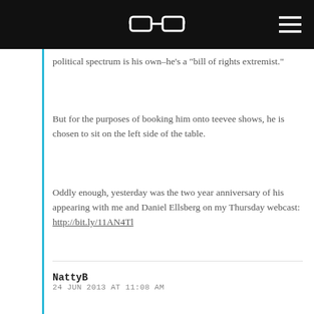[glasses logo] [hamburger menu]
political spectrum is his own–he's a "bill of rights extremist."
But for the purposes of booking him onto teevee shows, he is chosen to sit on the left side of the table.
Oddly enough, yesterday was the two year anniversary of his appearing with me and Daniel Ellsberg on my Thursday webcast: http://bit.ly/11AN4Tl
NattyB
24 JUN 2013 AT 11:08 AM
He is and has always been an avowed